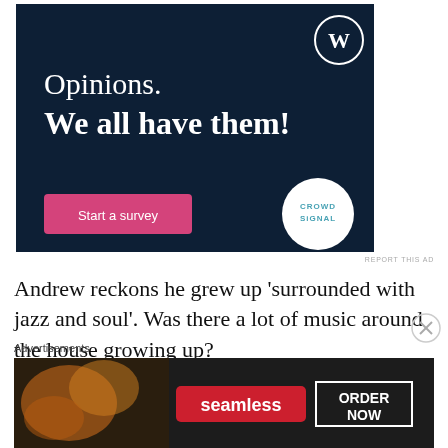[Figure (illustration): WordPress/Crowdsignal advertisement banner with dark navy background. Shows 'Opinions. We all have them!' text with WordPress logo (W in circle) top right, a pink 'Start a survey' button bottom left, and Crowdsignal logo (white circle) bottom right.]
REPORT THIS AD
Andrew reckons he grew up 'surrounded with jazz and soul'. Was there a lot of music around the house growing up?
Advertisements
[Figure (illustration): Seamless food delivery advertisement. Dark background with pizza image on left, red 'seamless' logo in center, and 'ORDER NOW' button outlined in white on right.]